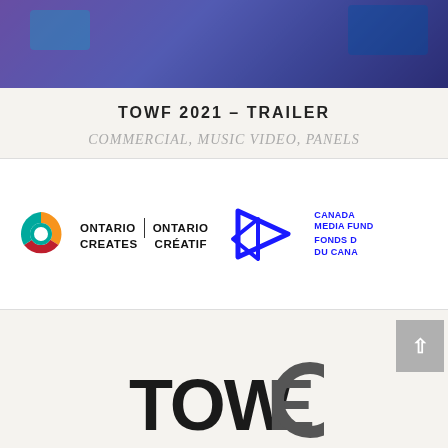[Figure (photo): Dark purple/blue abstract image, appears to be a video still or event photo with purple overlay]
TOWF 2021 – TRAILER
COMMERCIAL, MUSIC VIDEO, PANELS
[Figure (logo): Ontario Creates | Ontario Créatif logo with colorful circle icon]
[Figure (logo): Canada Media Fund / Fonds du Canada logo with blue arrow shapes]